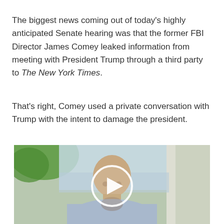The biggest news coming out of today's highly anticipated Senate hearing was that the former FBI Director James Comey leaked information from meeting with President Trump through a third party to The New York Times.
That's right, Comey used a private conversation with Trump with the intent to damage the president.
[Figure (photo): A video thumbnail showing a man in a light blue shirt seated indoors near a window with a blurred outdoor background. A white circular play button overlay is centered on the image.]